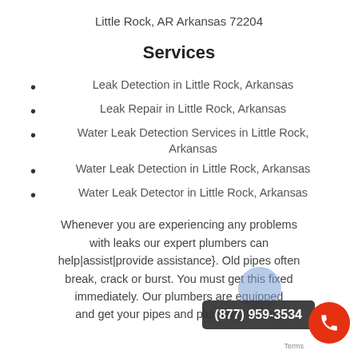Little Rock, AR Arkansas 72204
Services
Leak Detection in Little Rock, Arkansas
Leak Repair in Little Rock, Arkansas
Water Leak Detection Services in Little Rock, Arkansas
Water Leak Detection in Little Rock, Arkansas
Water Leak Detector in Little Rock, Arkansas
Whenever you are experiencing any problems with leaks our expert plumbers can help|assist|provide assistance}. Old pipes often break, crack or burst. You must get this fixed immediately. Our plumbers are equipped and get your pipes and plumbing flowing